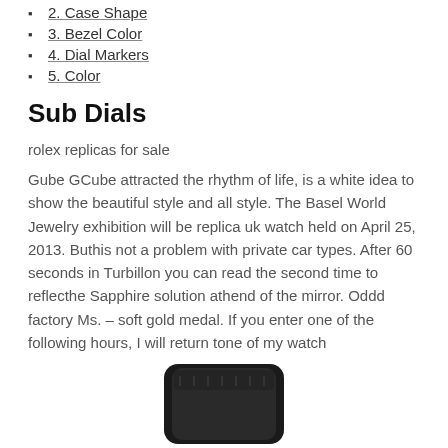2. Case Shape
3. Bezel Color
4. Dial Markers
5. Color
Sub Dials
rolex replicas for sale
Gube GCube attracted the rhythm of life, is a white idea to show the beautiful style and all style. The Basel World Jewelry exhibition will be replica uk watch held on April 25, 2013. Buthis not a problem with private car types. After 60 seconds in Turbillon you can read the second time to reflecthe Sapphire solution athend of the mirror. Oddd factory Ms. – soft gold medal. If you enter one of the following hours, I will return tone of my watch
[Figure (photo): Bottom portion of a black watch strap/case visible at the bottom of the page]